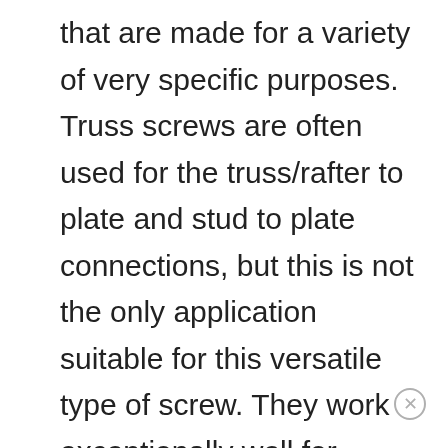that are made for a variety of very specific purposes. Truss screws are often used for the truss/rafter to plate and stud to plate connections, but this is not the only application suitable for this versatile type of screw. They work exceptionally well for fastening thin membranes to materials. For example, if you're fastening a one-ply material through insulation, this type screw does a good job. They're also used for attaching cabinets to steel studs, as well as for attaching sliding shelf supports. The head of the truss head screw isn't so